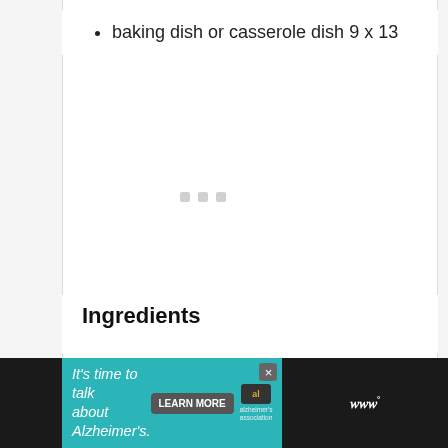baking dish or casserole dish 9 x 13
Ingredients
[Figure (infographic): Advertisement banner: 'It's time to talk about Alzheimer's.' with a Learn More button, Alzheimer's Association logo, and WW logo on dark background.]